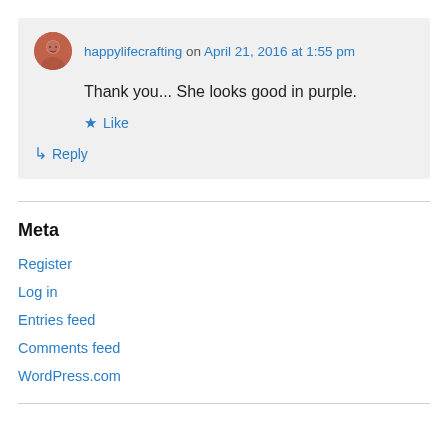happylifecrafting on April 21, 2016 at 1:55 pm
Thank you... She looks good in purple.
★ Like
↳ Reply
Meta
Register
Log in
Entries feed
Comments feed
WordPress.com